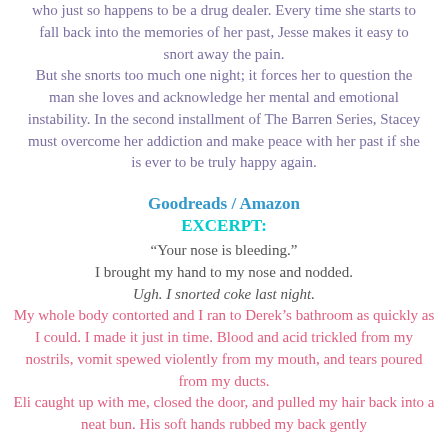who just so happens to be a drug dealer. Every time she starts to fall back into the memories of her past, Jesse makes it easy to snort away the pain. But she snorts too much one night; it forces her to question the man she loves and acknowledge her mental and emotional instability. In the second installment of The Barren Series, Stacey must overcome her addiction and make peace with her past if she is ever to be truly happy again.
Goodreads / Amazon
EXCERPT:
“Your nose is bleeding.”
I brought my hand to my nose and nodded.
Ugh. I snorted coke last night.
My whole body contorted and I ran to Derek’s bathroom as quickly as I could. I made it just in time. Blood and acid trickled from my nostrils, vomit spewed violently from my mouth, and tears poured from my ducts.
Eli caught up with me, closed the door, and pulled my hair back into a neat bun. His soft hands rubbed my back gently.